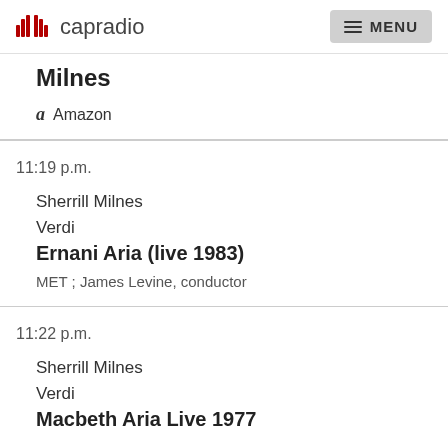capradio | MENU
Milnes
Amazon
11:19 p.m.
Sherrill Milnes
Verdi
Ernani Aria (live 1983)
MET ; James Levine, conductor
11:22 p.m.
Sherrill Milnes
Verdi
Macbeth Aria Live 1977